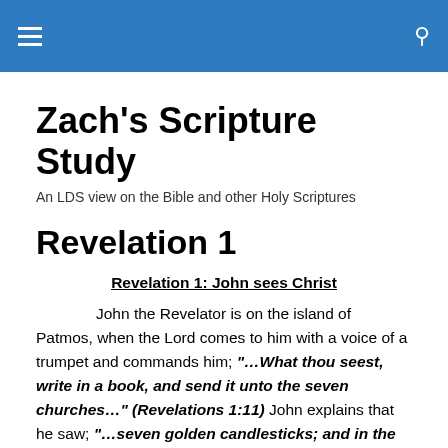Zach's Scripture Study
Zach's Scripture Study
An LDS view on the Bible and other Holy Scriptures
Revelation 1
Revelation 1: John sees Christ
John the Revelator is on the island of Patmos, when the Lord comes to him with a voice of a trumpet and commands him; “…What thou seest, write in a book, and send it unto the seven churches…” (Revelations 1:11) John explains that he saw; “…seven golden candlesticks; and in the midst of the candlesticks one